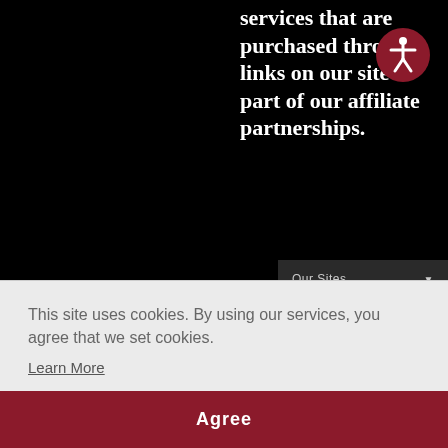services that are purchased through links on our site as part of our affiliate partnerships.
[Figure (illustration): Accessibility icon — a circular dark red button with a white human figure (wheelchair accessibility symbol) in the center.]
Our Sites ▾
R
This site uses cookies. By using our services, you agree that we set cookies.
Learn More
Agree